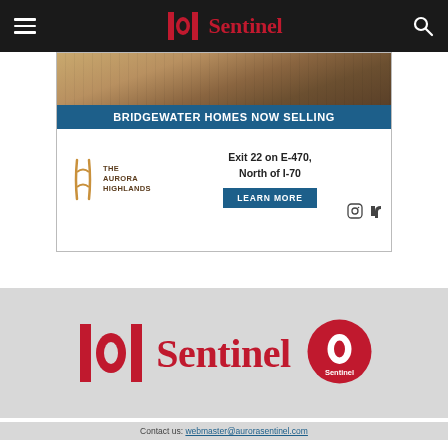Sentinel
[Figure (infographic): Advertisement for Bridgewater Homes / The Aurora Highlands: image of homes at top, blue bar reading 'BRIDGEWATER HOMES NOW SELLING', Aurora Highlands logo, text 'Exit 22 on E-470, North of I-70', 'LEARN MORE' button, social media icons]
[Figure (logo): Sentinel newspaper logo (large red stylized S with bracket marks) and 'Sentinel' wordmark in red, plus circular Sentinel badge logo on the right]
Contact us: webmaster@aurorasentinel.com